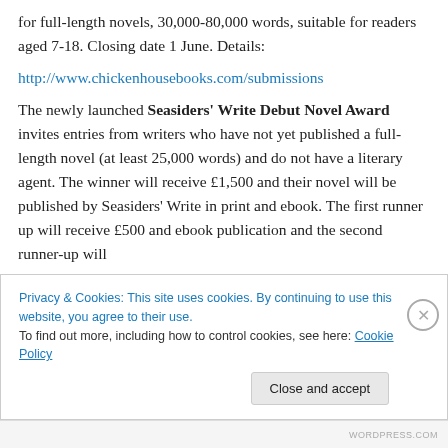for full-length novels, 30,000-80,000 words, suitable for readers aged 7-18. Closing date 1 June. Details:
http://www.chickenhousebooks.com/submissions
The newly launched Seasiders' Write Debut Novel Award invites entries from writers who have not yet published a full-length novel (at least 25,000 words) and do not have a literary agent. The winner will receive £1,500 and their novel will be published by Seasiders' Write in print and ebook. The first runner up will receive £500 and ebook publication and the second runner-up will
Privacy & Cookies: This site uses cookies. By continuing to use this website, you agree to their use. To find out more, including how to control cookies, see here: Cookie Policy
Close and accept
WORDPRESS.COM